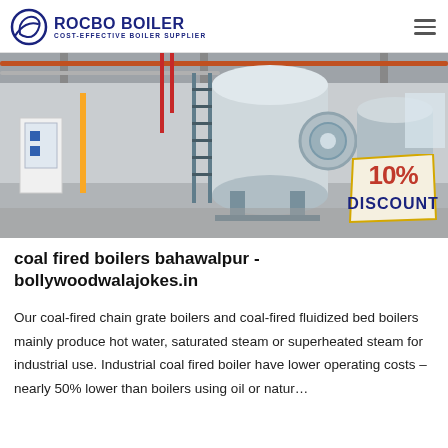ROCBO BOILER COST-EFFECTIVE BOILER SUPPLIER
[Figure (photo): Industrial boiler room with large horizontal cylindrical boilers on stands, piping, ladders, and a 10% DISCOUNT badge overlay in the bottom right corner.]
coal fired boilers bahawalpur - bollywoodwalajokes.in
Our coal-fired chain grate boilers and coal-fired fluidized bed boilers mainly produce hot water, saturated steam or superheated steam for industrial use. Industrial coal fired boiler have lower operating costs – nearly 50% lower than boilers using oil or natur…